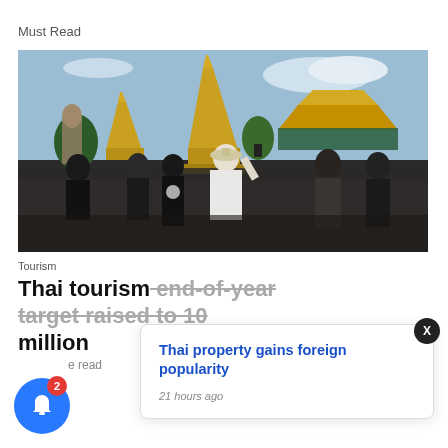Must Read
[Figure (photo): Tourists visiting a Thai temple complex with golden stupas (Wat Phra Kaew / Grand Palace area), crowded with visitors, one woman in foreground taking a photo with her phone]
Tourism
Thai tourism end-of-year target raised to 10 million
e read
[Figure (screenshot): Browser notification popup card showing link 'Thai property gains foreign popularity' with timestamp '21 hours ago' and a close X button]
Thai property gains foreign popularity
21 hours ago